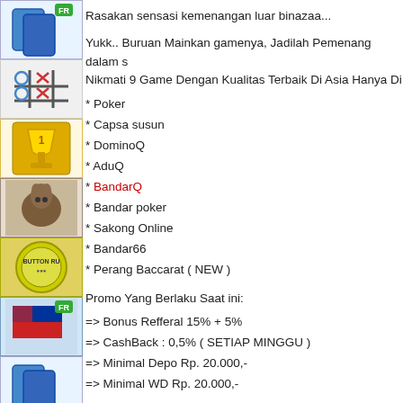[Figure (illustration): Left sidebar with game app icons including cards, tic-tac-toe, trophy, horse, button roulette, flag, and repeated icons]
Rasakan sensasi kemenangan luar binazaa...
Yukk.. Buruan Mainkan gamenya, Jadilah Pemenang dalam s... Nikmati 9 Game Dengan Kualitas Terbaik Di Asia Hanya Di
* Poker
* Capsa susun
* DominoQ
* AduQ
* BandarQ
* Bandar poker
* Sakong Online
* Bandar66
* Perang Baccarat ( NEW )
Promo Yang Berlaku Saat ini:
=> Bonus Refferal 15% + 5%
=> CashBack : 0,5% ( SETIAP MINGGU )
=> Minimal Depo Rp. 20.000,-
=> Minimal WD Rp. 20.000,-
Pelayanan dan Sistem Di Situs Sahabatpoker :
=> 100% Member Asli
=> Pelayanan DP & WD 24 jam